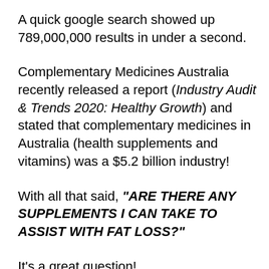A quick google search showed up 789,000,000 results in under a second.
Complementary Medicines Australia recently released a report (Industry Audit & Trends 2020: Healthy Growth) and stated that complementary medicines in Australia (health supplements and vitamins) was a $5.2 billion industry!
With all that said, "ARE THERE ANY SUPPLEMENTS I CAN TAKE TO ASSIST WITH FAT LOSS?"
It's a great question!